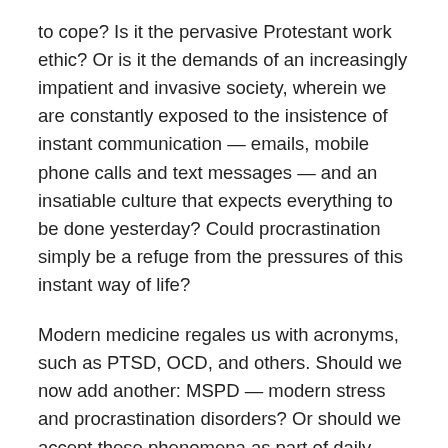to cope? Is it the pervasive Protestant work ethic? Or is it the demands of an increasingly impatient and invasive society, wherein we are constantly exposed to the insistence of instant communication — emails, mobile phone calls and text messages — and an insatiable culture that expects everything to be done yesterday? Could procrastination simply be a refuge from the pressures of this instant way of life?
Modern medicine regales us with acronyms, such as PTSD, OCD, and others. Should we now add another: MSPD — modern stress and procrastination disorders? Or should we accept these phenomena as part of daily living and resist the temptation to medicalise normal human experiences and reactions?
The Medical Journal of Australia
Martin B Van Der Weyden, Editor